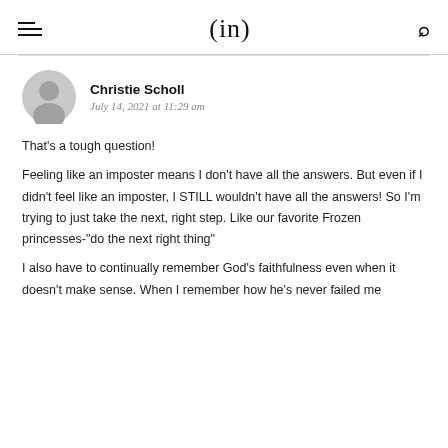(in)
Christie Scholl
July 14, 2021 at 11:29 am
That's a tough question!
Feeling like an imposter means I don't have all the answers. But even if I didn't feel like an imposter, I STILL wouldn't have all the answers! So I'm trying to just take the next, right step. Like our favorite Frozen princesses-"do the next right thing"

I also have to continually remember God's faithfulness even when it doesn't make sense. When I remember how he's never failed me